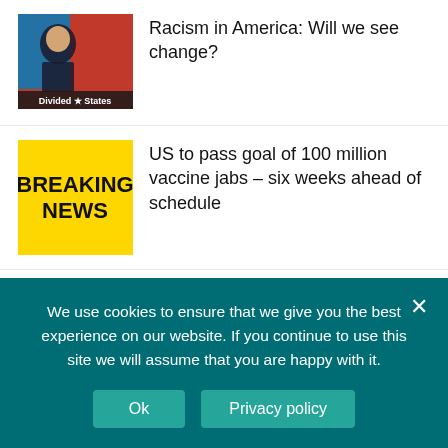[Figure (photo): Thumbnail image of a man in front of a red and blue US electoral map, with text 'Divided ★ States' at the bottom]
Racism in America: Will we see change?
[Figure (other): Yellow square with bold black text: BREAKING NEWS]
US to pass goal of 100 million vaccine jabs – six weeks ahead of schedule
[Figure (other): Partial yellow thumbnail (top cropped)]
Paris and 15 other French regions go back into
We use cookies to ensure that we give you the best experience on our website. If you continue to use this site we will assume that you are happy with it.
Ok
Privacy policy